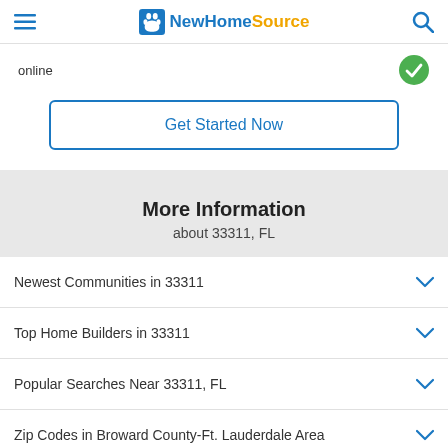NewHomeSource
online
Get Started Now
More Information about 33311, FL
Newest Communities in 33311
Top Home Builders in 33311
Popular Searches Near 33311, FL
Zip Codes in Broward County-Ft. Lauderdale Area